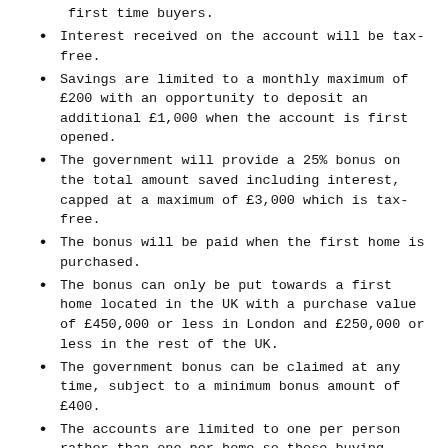first time buyers.
Interest received on the account will be tax-free.
Savings are limited to a monthly maximum of £200 with an opportunity to deposit an additional £1,000 when the account is first opened.
The government will provide a 25% bonus on the total amount saved including interest, capped at a maximum of £3,000 which is tax-free.
The bonus will be paid when the first home is purchased.
The bonus can only be put towards a first home located in the UK with a purchase value of £450,000 or less in London and £250,000 or less in the rest of the UK.
The government bonus can be claimed at any time, subject to a minimum bonus amount of £400.
The accounts are limited to one per person rather than one per home so those buying together can both receive a bonus.